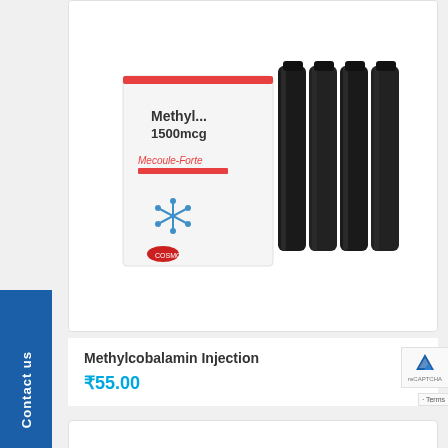[Figure (photo): Product photo of Methylcobalamin Forte 1500mcg injection box with vials/ampoules on white background]
Methylcobalamin Injection
₹55.00
[Figure (photo): Product photo of Meropenem Injection I.P. box, partially visible]
Contact us